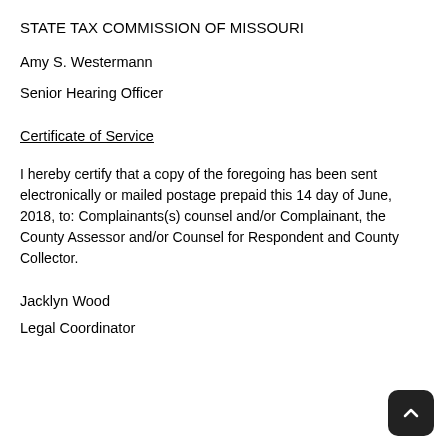STATE TAX COMMISSION OF MISSOURI
Amy S. Westermann
Senior Hearing Officer
Certificate of Service
I hereby certify that a copy of the foregoing has been sent electronically or mailed postage prepaid this 14 day of June, 2018, to: Complainants(s) counsel and/or Complainant, the County Assessor and/or Counsel for Respondent and County Collector.
Jacklyn Wood
Legal Coordinator